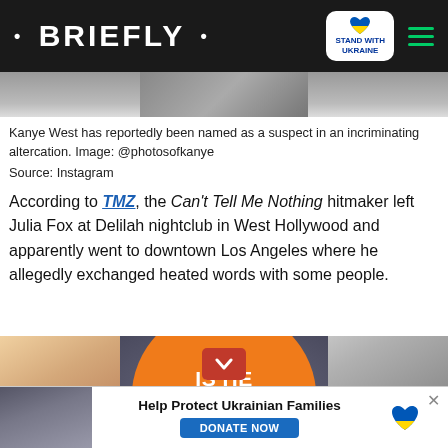• BRIEFLY •  STAND WITH UKRAINE
[Figure (photo): Cropped photo strip at top, partially visible]
Kanye West has reportedly been named as a suspect in an incriminating altercation. Image: @photosofkanye
Source: Instagram
According to TMZ, the Can't Tell Me Nothing hitmaker left Julia Fox at Delilah nightclub in West Hollywood and apparently went to downtown Los Angeles where he allegedly exchanged heated words with some people.
[Figure (photo): Advertisement showing two celebrities on either side of an orange circle with text 'IS HE THE ONLY ONE TO BLAME?']
[Figure (photo): Bottom banner advertisement: Help Protect Ukrainian Families with DONATE NOW button and Ukraine heart logo]